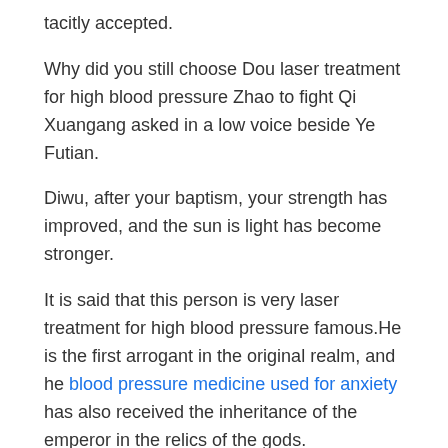tacitly accepted.
Why did you still choose Dou laser treatment for high blood pressure Zhao to fight Qi Xuangang asked in a low voice beside Ye Futian.
Diwu, after your baptism, your strength has improved, and the sun is light has become stronger.
It is said that this person is very laser treatment for high blood pressure famous.He is the first arrogant in the original realm, and he blood pressure medicine used for anxiety has also received the inheritance of the emperor in the relics of the gods.
There laser treatment for high blood pressure were even people looking up from very far away and being able to see what was happening on the battlefield.
You Ming said, and suddenly one of the glasses of laser